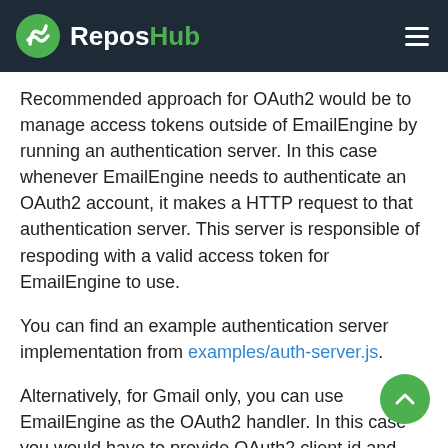ReposHub
Recommended approach for OAuth2 would be to manage access tokens outside of EmailEngine by running an authentication server. In this case whenever EmailEngine needs to authenticate an OAuth2 account, it makes a HTTP request to that authentication server. This server is responsible of respoding with a valid access token for EmailEngine to use.
You can find an example authentication server implementation from examples/auth-server.js.
Alternatively, for Gmail only, you can use EmailEngine as the OAuth2 handler. In this case you would have to provide OAuth2 client id and client secret to EmailEngine (see OAuth2 section in the Settings page) and then, when adding new accounts, use the OAuth2 option instead of manually specifying IMAP